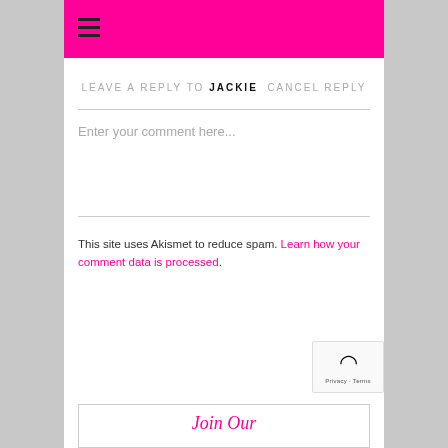≡ (hamburger menu)
LEAVE A REPLY TO JACKIE CANCEL REPLY
Enter your comment here...
This site uses Akismet to reduce spam. Learn how your comment data is processed.
Join Our